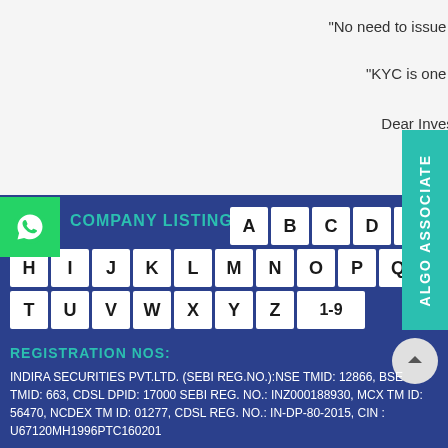"No need to issue c
"KYC is one ti
Dear Invest
ALGO ASSOCIATE
COMPANY LISTING
A B C D E F G H I J K L M N O P Q R S T U V W X Y Z 1-9
REGISTRATION NOS:
INDIRA SECURITIES PVT.LTD. (SEBI REG.NO.):NSE TMID: 12866, BSE TMID: 663, CDSL DPID: 17000 SEBI REG. NO.: INZ000188930, MCX TM ID: 56470, NCDEX TM ID: 01277, CDSL REG. NO.: IN-DP-80-2015, CIN : U67120MH1996PTC160201